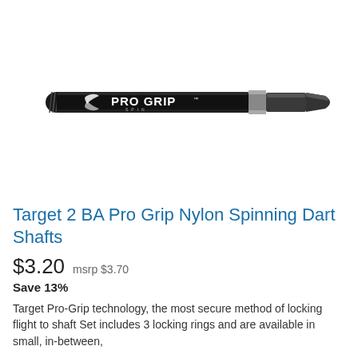[Figure (photo): A black Target Pro Grip Spin dart shaft displayed horizontally. The shaft has a screw thread on the left end, a black nylon body with 'PRO GRIP SPIN' printed in white text, a silver locking ring near the right end, and a bullet-shaped tip on the right.]
Target 2 BA Pro Grip Nylon Spinning Dart Shafts
$3.20  msrp $3.70
Save 13%
Target Pro-Grip technology, the most secure method of locking flight to shaft Set includes 3 locking rings and are available in small, in-between,